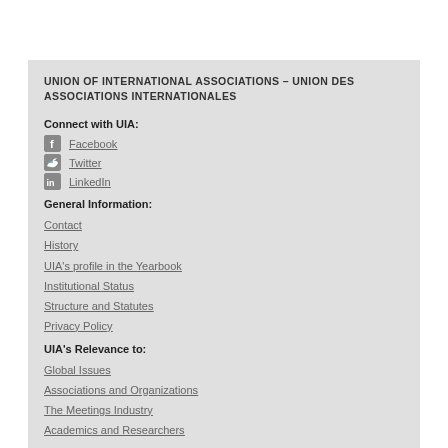UNION OF INTERNATIONAL ASSOCIATIONS – UNION DES ASSOCIATIONS INTERNATIONALES
Connect with UIA:
Facebook
Twitter
LinkedIn
General Information:
Contact
History
UIA's profile in the Yearbook
Institutional Status
Structure and Statutes
Privacy Policy
UIA's Relevance to:
Global Issues
Associations and Organizations
The Meetings Industry
Academics and Researchers
Library & Archive:
Publications Archive
Document Archive